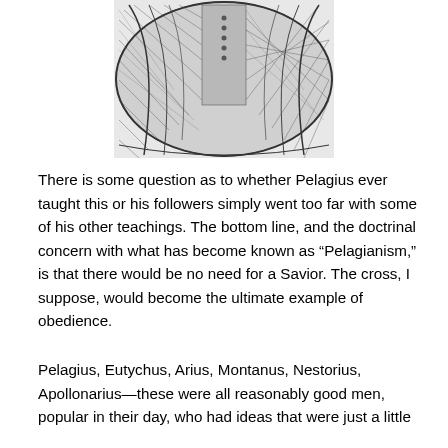[Figure (illustration): Black and white engraving showing the lower torso and robes of a historical figure (Pelagius), with detailed cross-hatching depicting draped fabric/clothing]
There is some question as to whether Pelagius ever taught this or his followers simply went too far with some of his other teachings.  The bottom line, and the doctrinal concern with what has become known as “Pelagianism,” is that there would be no need for a Savior.  The cross, I suppose, would become the ultimate example of obedience.
Pelagius, Eutychus, Arius, Montanus, Nestorius, Apollonarius—these were all reasonably good men, popular in their day, who had ideas that were just a little